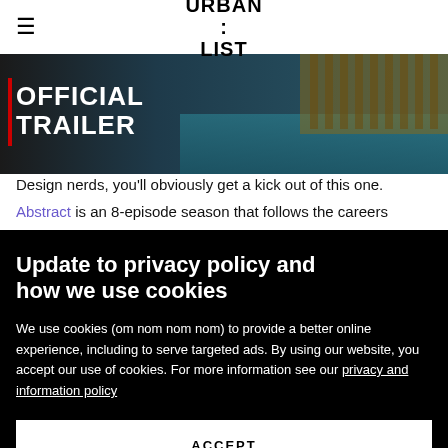URBAN LIST
[Figure (photo): Video thumbnail showing OFFICIAL TRAILER text overlay on an architectural image with teal water and wooden structure]
Design nerds, you'll obviously get a kick out of this one. Abstract is an 8-episode season that follows the careers
Update to privacy policy and how we use cookies
We use cookies (om nom nom nom) to provide a better online experience, including to serve targeted ads. By using our website, you accept our use of cookies. For more information see our privacy and information policy
ACCEPT